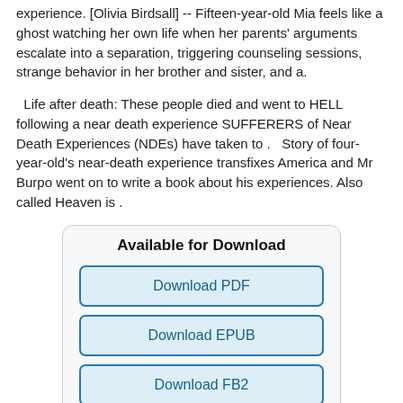experience. [Olivia Birdsall] -- Fifteen-year-old Mia feels like a ghost watching her own life when her parents' arguments escalate into a separation, triggering counseling sessions, strange behavior in her brother and sister, and a.
Life after death: These people died and went to HELL following a near death experience SUFFERERS of Near Death Experiences (NDEs) have taken to .   Story of four-year-old's near-death experience transfixes America and Mr Burpo went on to write a book about his experiences. Also called Heaven is .
Available for Download
Download PDF
Download EPUB
Download FB2
Download MOBI
Download TXT